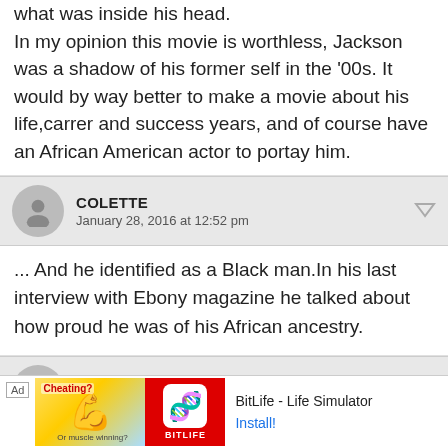what was inside his head. In my opinion this movie is worthless, Jackson was a shadow of his former self in the '00s. It would by way better to make a movie about his life,carrer and success years, and of course have an African American actor to portay him.
COLETTE
January 28, 2016 at 12:52 pm
... And he identified as a Black man.In his last interview with Ebony magazine he talked about how proud he was of his African ancestry.
ANNE
January 29, 2016 at 8:59 pm
yeah, he gave a politically correct, IMO.
[Figure (infographic): Advertisement banner for BitLife - Life Simulator app with 'Ad' label, promotional imagery including an arm emoji, red background with sperm icon, and Install button]